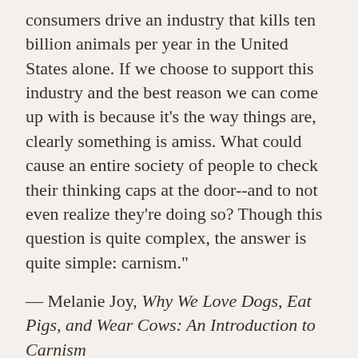consumers drive an industry that kills ten billion animals per year in the United States alone. If we choose to support this industry and the best reason we can come up with is because it's the way things are, clearly something is amiss. What could cause an entire society of people to check their thinking caps at the door--and to not even realize they're doing so? Though this question is quite complex, the answer is quite simple: carnism."
— Melanie Joy, Why We Love Dogs, Eat Pigs, and Wear Cows: An Introduction to Carnism
ANOTHER QUOTE
The standard diet of a person in the United States requires 4,200 gallons of water per day (for